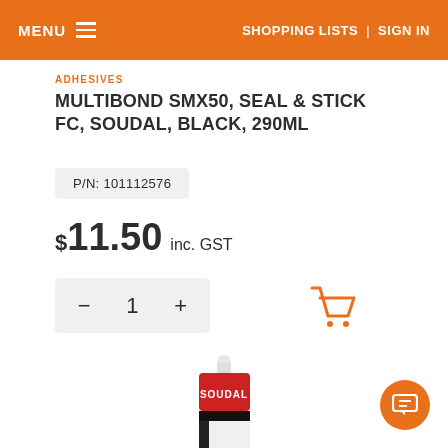MENU | SHOPPING LISTS | SIGN IN
ADHESIVES
MULTIBOND SMX50, SEAL & STICK FC, SOUDAL, BLACK, 290ML
P/N: 101112576
$11.50 inc. GST
- 1 +
[Figure (photo): Shopping cart icon in orange]
[Figure (photo): Soudal Seal & Bond product tube, white/red canister with black and red label showing SOUDAL SEAL branding]